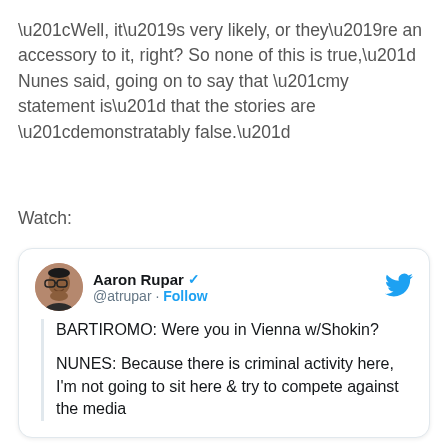“Well, it’s very likely, or they’re an accessory to it, right? So none of this is true,” Nunes said, going on to say that “my statement is” that the stories are “demonstratably false.”
Watch:
[Figure (screenshot): Embedded tweet by Aaron Rupar (@atrupar) with Follow link and Twitter bird icon. Tweet body shows quoted dialogue: BARTIROMO: Were you in Vienna w/Shokin? NUNES: Because there is criminal activity here, I'm not going to sit here & try to compete against the media]